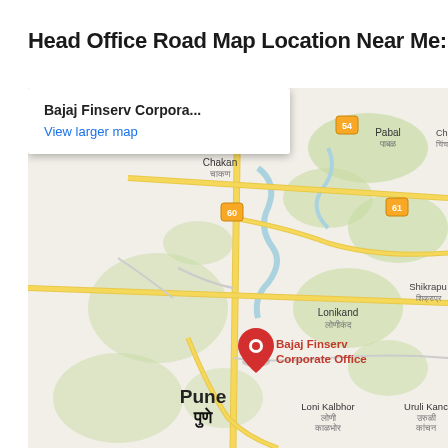Head Office Road Map Location Near Me:
[Figure (map): Google Maps view showing Bajaj Finserv Corporate Office location near Pune, India. Map includes a red location pin labeled 'Bajaj Finserv Corporate Office' near Pune/पुणे. Surrounding areas visible include Chakan/चाकण, Lonikand/लोणीकंद, Pabal/पाबळ, Shikrapur/शिक्राप्र, Loni Kalbhor/लोणी काळभोर, Uruli Kanchan/उरुळी कांचन. Route numbers 54, 60, 61 visible. A popup overlay shows 'Bajaj Finserv Corpora...' with 'View larger map' link.]